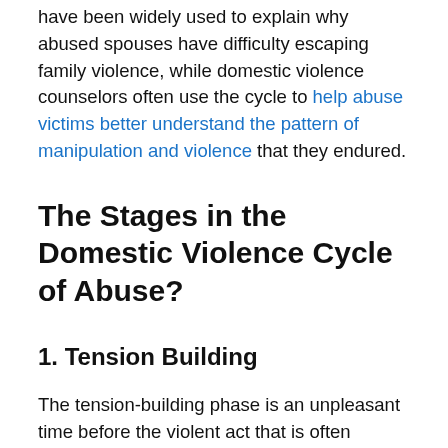have been widely used to explain why abused spouses have difficulty escaping family violence, while domestic violence counselors often use the cycle to help abuse victims better understand the pattern of manipulation and violence that they endured.
The Stages in the Domestic Violence Cycle of Abuse?
1. Tension Building
The tension-building phase is an unpleasant time before the violent act that is often characterized by small fights and passive aggressive behavior. During this time, the abuser may be affected by...